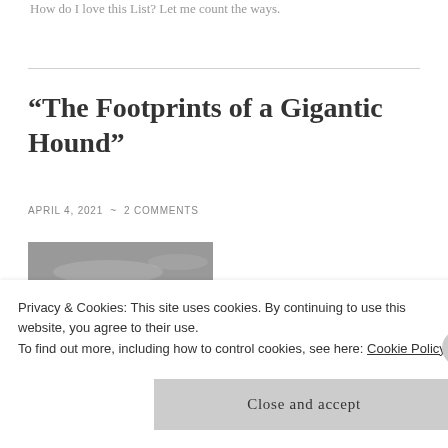How do I love this List? Let me count the ways.
“The Footprints of a Gigantic Hound”
APRIL 4, 2021 ~ 2 COMMENTS
[Figure (illustration): Grayscale vintage illustration showing figures on a moorland landscape with standing stones in the background.]
Privacy & Cookies: This site uses cookies. By continuing to use this website, you agree to their use.
To find out more, including how to control cookies, see here: Cookie Policy
Close and accept